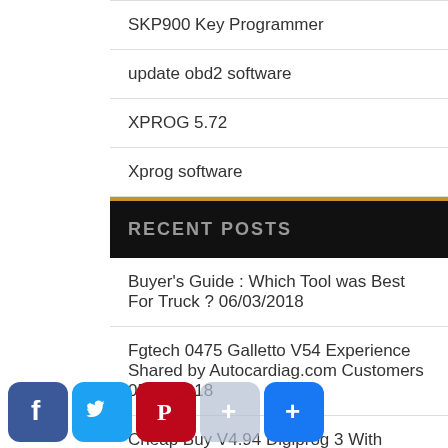SKP900 Key Programmer
update obd2 software
XPROG 5.72
Xprog software
RECENT POSTS
Buyer's Guide : Which Tool was Best For Truck ? 06/03/2018
Fgtech 0475 Galletto V54 Experience Shared by Autocardiag.com Customers 05/03/2018
Cheap Buy V4.94 Digiprog 3 With Tested Feedback by Customers ! 02/03/2018